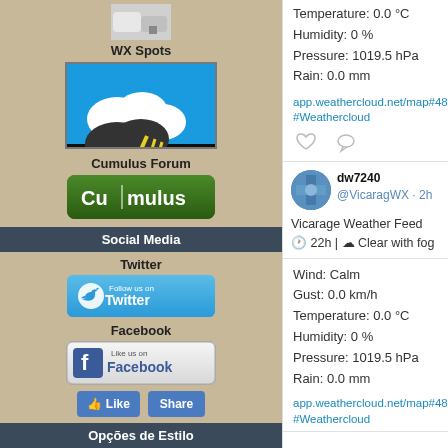WX Spots
[Figure (logo): WX Spots weather station icon with clouds and lightning]
Cumulus Forum
[Figure (logo): Cumulus Forum green button logo]
Social Media
Twitter
[Figure (logo): Follow us on Twitter button]
Facebook
[Figure (logo): Like us on Facebook button]
Like  Share
Opções de Estilo
Temperature: 0.0 °C
Humidity: 0 %
Pressure: 1019.5 hPa
Rain: 0.0 mm
app.weathercloud.net/map#4818844
#Weathercloud
dw7240 @VicaragWX · 2h
Vicarage Weather Feed
🕐 22h | ☁ Clear with fog
Wind: Calm
Gust: 0.0 km/h
Temperature: 0.0 °C
Humidity: 0 %
Pressure: 1019.5 hPa
Rain: 0.0 mm
app.weathercloud.net/map#4818844
#Weathercloud